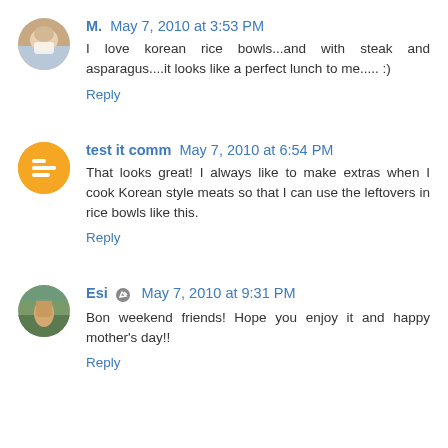[Figure (photo): Avatar photo of commenter M. - cup on table]
M. May 7, 2010 at 3:53 PM
I love korean rice bowls...and with steak and asparagus....it looks like a perfect lunch to me..... :)
Reply
[Figure (logo): Blogger orange circle logo icon]
test it comm May 7, 2010 at 6:54 PM
That looks great! I always like to make extras when I cook Korean style meats so that I can use the leftovers in rice bowls like this.
Reply
[Figure (photo): Avatar photo of commenter Esi - outdoor scene]
Esi May 7, 2010 at 9:31 PM
Bon weekend friends! Hope you enjoy it and happy mother's day!!
Reply